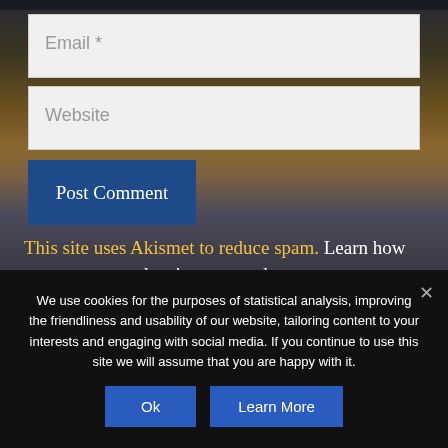[Figure (screenshot): Email input field with placeholder text 'Email *']
[Figure (screenshot): Website input field with placeholder text 'Website']
[Figure (screenshot): Blue 'Post Comment' button]
This site uses Akismet to reduce spam. Learn how your comment data is processed.
We use cookies for the purposes of statistical analysis, improving the friendliness and usability of our website, tailoring content to your interests and engaging with social media. If you continue to use this site we will assume that you are happy with it.
Ok
Learn More